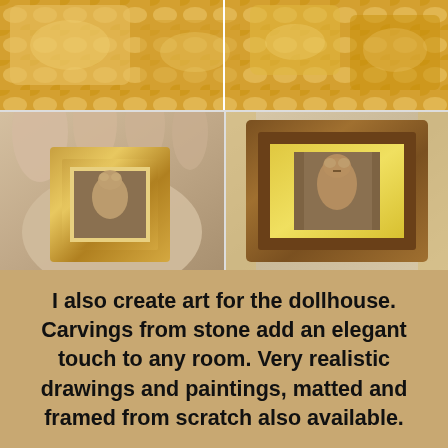[Figure (photo): Top photo showing gold/yellow textured miniature dollhouse furniture or decorative items with golden fabric]
[Figure (photo): Left bottom photo showing a hand holding a small wooden framed artwork with a carved animal (possibly a raccoon or bear) inside]
[Figure (photo): Right bottom photo showing a wooden framed miniature artwork with a carved animal on a golden mat background]
I also create art for the dollhouse. Carvings from stone add an elegant touch to any room. Very realistic drawings and paintings, matted and framed from scratch also available.